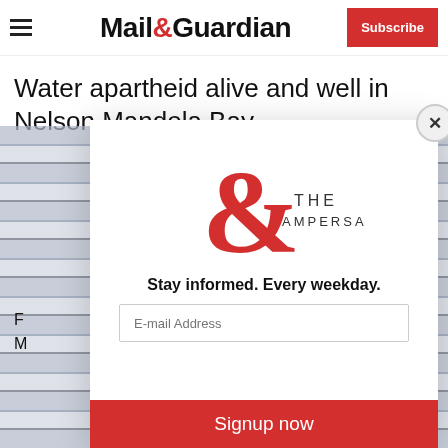Mail&Guardian | Subscribe
Water apartheid alive and well in Nelson Mandela Bay
[Figure (screenshot): A modal popup from The Ampersand newsletter subscription with a large red ampersand logo, tagline 'Stay informed. Every weekday.', email input field, and a red 'Signup now' button. Behind the modal is a partially visible news article image.]